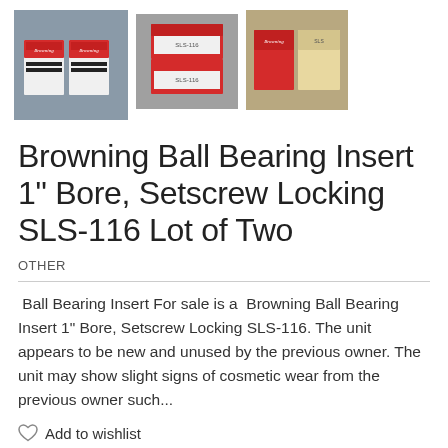[Figure (photo): Three product photos of Browning Ball Bearing Insert boxes arranged in a row: left shows two white/red Browning boxes on gray surface, center shows boxes stacked from above, right shows red and beige boxes.]
Browning Ball Bearing Insert 1" Bore, Setscrew Locking SLS-116 Lot of Two
OTHER
Ball Bearing Insert For sale is a Browning Ball Bearing Insert 1" Bore, Setscrew Locking SLS-116. The unit appears to be new and unused by the previous owner. The unit may show slight signs of cosmetic wear from the previous owner such...
Add to wishlist